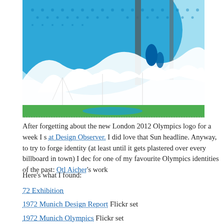[Figure (illustration): A stylized graphic illustration of the 1972 Munich Olympics stadium complex, featuring the distinctive tent-like roof structure in blue tones with white support masts, rendered in a halftone/dotted print style with blue, white and green colors.]
After forgetting about the new London 2012 Olympics logo for a week I s... at Design Observer. I did love that Sun headline. Anyway, to try to forget identity (at least until it gets plastered over every billboard in town) I dec for one of my favourite Olympics identities of the past: Otl Aicher's work
Here's what I found:
72 Exhibition
1972 Munich Design Report Flickr set
1972 Munich Olympics Flickr set
Otl Aitcher and the Munich Olympiad Flickr set